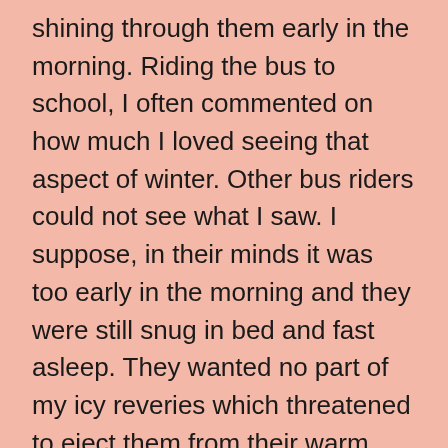shining through them early in the morning. Riding the bus to school, I often commented on how much I loved seeing that aspect of winter. Other bus riders could not see what I saw. I suppose, in their minds it was too early in the morning and they were still snug in bed and fast asleep. They wanted no part of my icy reveries which threatened to eject them from their warm ones.
On days when conditions were too dangerous for the busses to risk the drive to school, and on weekends, etc., I could enjoy the evidence of Jack Frost's visit during the night. The